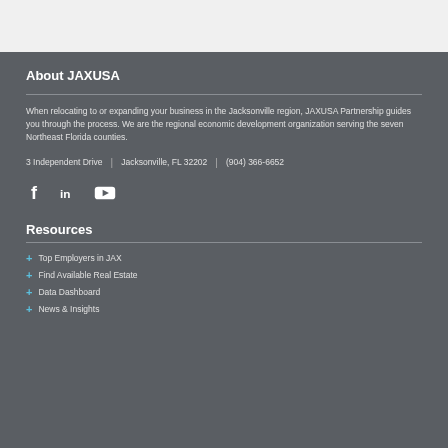About JAXUSA
When relocating to or expanding your business in the Jacksonville region, JAXUSA Partnership guides you through the process. We are the regional economic development organization serving the seven Northeast Florida counties.
3 Independent Drive | Jacksonville, FL 32202 | (904) 366-6652
[Figure (infographic): Social media icons: Facebook (f), LinkedIn (in), YouTube (play button)]
Resources
Top Employers in JAX
Find Available Real Estate
Data Dashboard
News & Insights